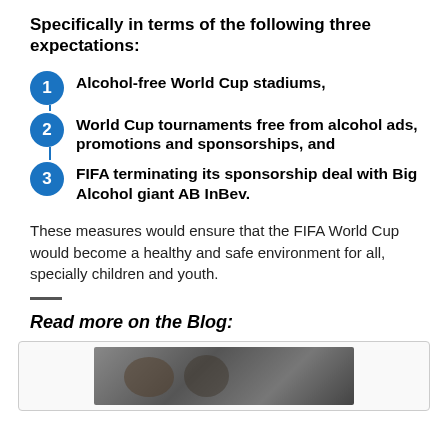Specifically in terms of the following three expectations:
Alcohol-free World Cup stadiums,
World Cup tournaments free from alcohol ads, promotions and sponsorships, and
FIFA terminating its sponsorship deal with Big Alcohol giant AB InBev.
These measures would ensure that the FIFA World Cup would become a healthy and safe environment for all, specially children and youth.
Read more on the Blog:
[Figure (photo): A photo of people, partially visible at the bottom of the page inside a blog preview box]